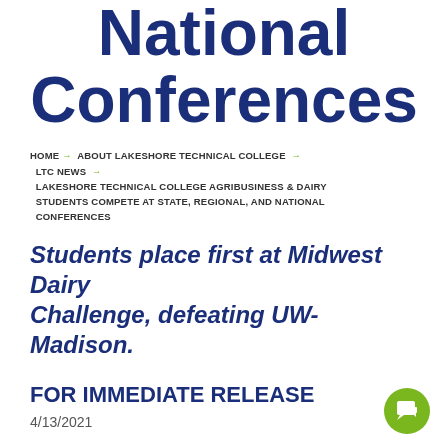National Conferences
HOME → ABOUT LAKESHORE TECHNICAL COLLEGE → LTC NEWS → LAKESHORE TECHNICAL COLLEGE AGRIBUSINESS & DAIRY STUDENTS COMPETE AT STATE, REGIONAL, AND NATIONAL CONFERENCES
Students place first at Midwest Dairy Challenge, defeating UW-Madison.
FOR IMMEDIATE RELEASE
4/13/2021
CLEVELAND, WI –